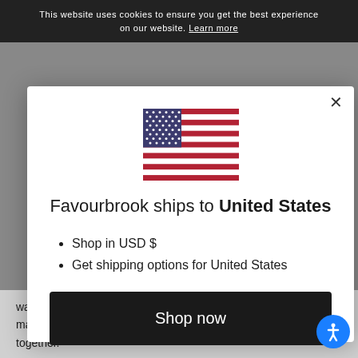This website uses cookies to ensure you get the best experience on our website. Learn more
[Figure (illustration): US flag illustration in SVG]
Favourbrook ships to United States
Shop in USD $
Get shipping options for United States
Shop now
Change shipping country
was met with some degree of cynicism but from the outside the marriage seemed genuine in so far as they had four children together.